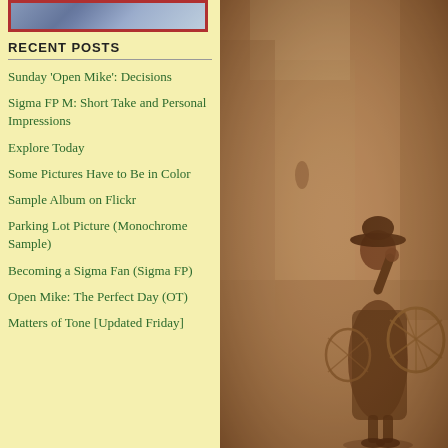[Figure (photo): Partial thumbnail image at top left, showing what appears to be a bird or animal, with a red border frame.]
RECENT POSTS
Sunday 'Open Mike': Decisions
Sigma FP M: Short Take and Personal Impressions
Explore Today
Some Pictures Have to Be in Color
Sample Album on Flickr
Parking Lot Picture (Monochrome Sample)
Becoming a Sigma Fan (Sigma FP)
Open Mike: The Perfect Day (OT)
Matters of Tone [Updated Friday]
[Figure (photo): Sepia-toned vintage photograph of a person standing on a street, wearing a hat and coat, carrying large wicker baskets, with buildings and a street receding into the background.]